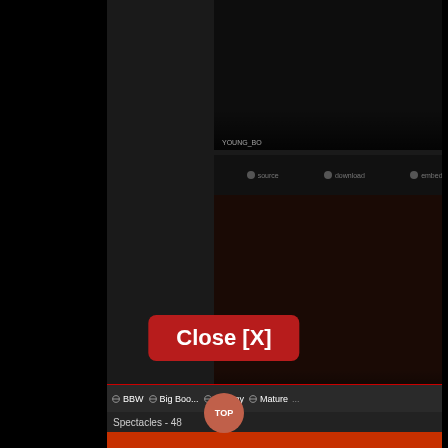[Figure (screenshot): Dark video thumbnail / content panel with two dark image areas, icon row with tags, close button overlay, TOP circle button, tag bar with BBW, Big Boobs, Granny, Mature links, and title bar reading Spectacles - 48]
Close [X]
TOP
BBW
Big Boobs
Granny
Mature
Spectacles - 48